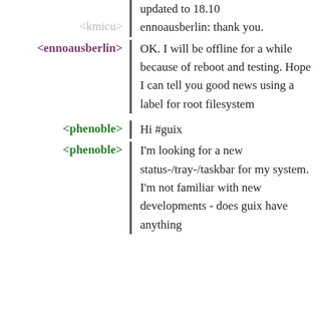updated to 18.10
<kmicu>
ennoausberlin: thank you.
<ennoausberlin>
OK. I will be offline for a while because of reboot and testing. Hope I can tell you good news using a label for root filesystem
<phenoble>
Hi #guix
<phenoble>
I'm looking for a new status-/tray-/taskbar for my system. I'm not familiar with new developments - does guix have anything